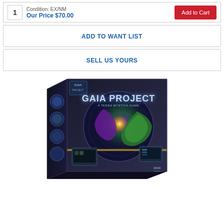Condition: EX/NM
Our Price $70.00
Add to Cart
ADD TO WANT LIST
SELL US YOURS
[Figure (photo): Gaia Project board game box art showing the game title 'Gaia Project: A Terra Mystica Game' with colorful cosmic artwork featuring a planet and space imagery.]